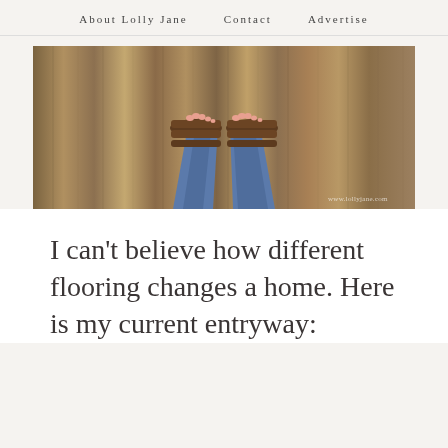About Lolly Jane   Contact   Advertise
[Figure (photo): Overhead view of a person's feet in brown leather sandals standing on wood-grain flooring, wearing blue jeans. Watermark text 'www.lollyjane.com' visible in bottom right.]
I can't believe how different flooring changes a home. Here is my current entryway: